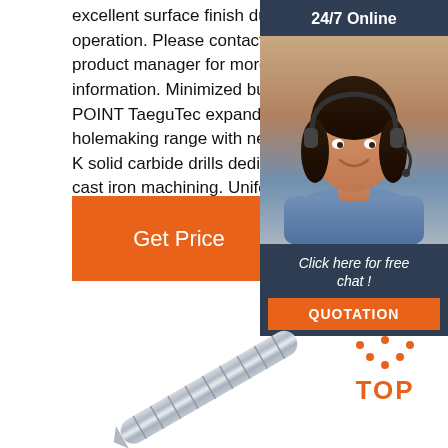excellent surface finish during operation. Please contact the product manager for more information. Minimized burrs KEY POINT TaeguTec expands its holemaking range with new NHD-K solid carbide drills dedicated for cast iron machining. Uniform cutting load Uniform cutting force
[Figure (other): Get Price orange button]
[Figure (other): 24/7 Online chat widget with customer service representative photo, 'Click here for free chat!' text and QUOTATION button]
[Figure (photo): Solid carbide drill bit (NHD-K) shown diagonally on white background]
[Figure (other): TOP navigation button with orange dotted arc and bold orange TOP text]